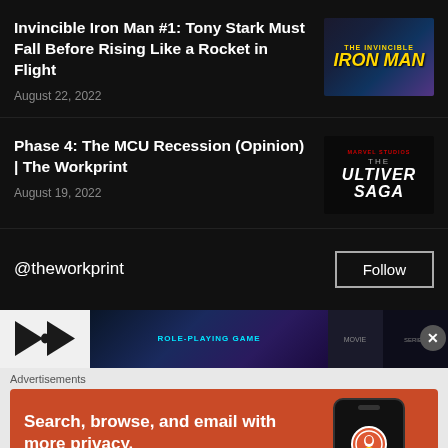Invincible Iron Man #1: Tony Stark Must Fall Before Rising Like a Rocket in Flight
August 22, 2022
[Figure (illustration): The Invincible Iron Man comic book cover thumbnail]
Phase 4: The MCU Recession (Opinion) | The Workprint
August 19, 2022
[Figure (illustration): The Multiverse Saga Marvel Studios thumbnail]
@theworkprint
Follow
[Figure (screenshot): Banner strip with bowtie, role-playing game ad, and movie thumbnails with close button]
Advertisements
[Figure (illustration): DuckDuckGo advertisement: Search, browse, and email with more privacy. All in One Free App.]